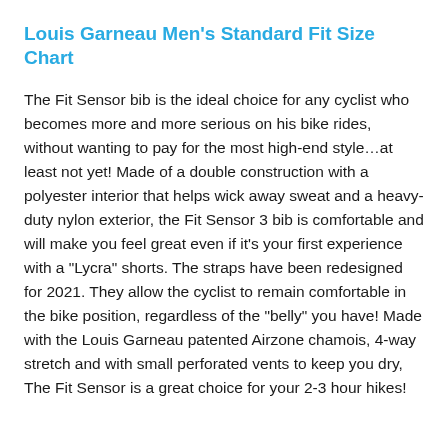Louis Garneau Men's Standard Fit Size Chart
The Fit Sensor bib is the ideal choice for any cyclist who becomes more and more serious on his bike rides, without wanting to pay for the most high-end style…at least not yet! Made of a double construction with a polyester interior that helps wick away sweat and a heavy-duty nylon exterior, the Fit Sensor 3 bib is comfortable and will make you feel great even if it's your first experience with a "Lycra" shorts. The straps have been redesigned for 2021. They allow the cyclist to remain comfortable in the bike position, regardless of the "belly" you have! Made with the Louis Garneau patented Airzone chamois, 4-way stretch and with small perforated vents to keep you dry, The Fit Sensor is a great choice for your 2-3 hour hikes!